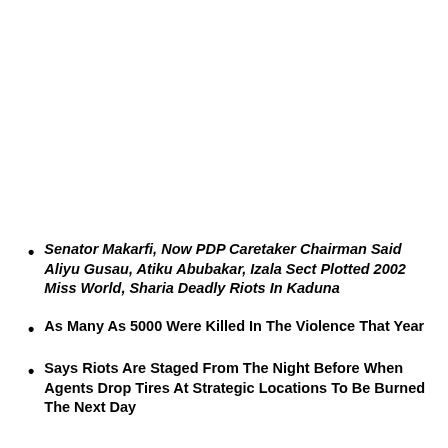Senator Makarfi, Now PDP Caretaker Chairman Said Aliyu Gusau, Atiku Abubakar, Izala Sect Plotted 2002 Miss World, Sharia Deadly Riots In Kaduna
As Many As 5000 Were Killed In The Violence That Year
Says Riots Are Staged From The Night Before When Agents Drop Tires At Strategic Locations To Be Burned The Next Day